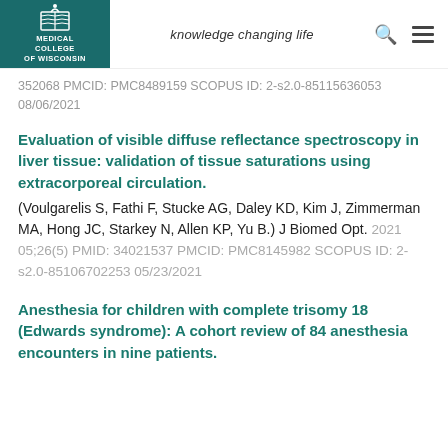Medical College of Wisconsin — knowledge changing life
352068 PMCID: PMC8489159 SCOPUS ID: 2-s2.0-85115636053 08/06/2021
Evaluation of visible diffuse reflectance spectroscopy in liver tissue: validation of tissue saturations using extracorporeal circulation.
(Voulgarelis S, Fathi F, Stucke AG, Daley KD, Kim J, Zimmerman MA, Hong JC, Starkey N, Allen KP, Yu B.) J Biomed Opt. 2021 05;26(5) PMID: 34021537 PMCID: PMC8145982 SCOPUS ID: 2-s2.0-85106702253 05/23/2021
Anesthesia for children with complete trisomy 18 (Edwards syndrome): A cohort review of 84 anesthesia encounters in nine patients.